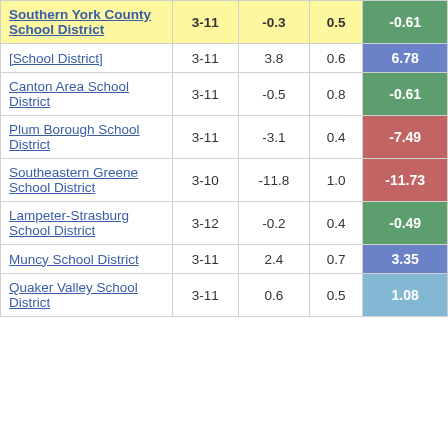| District | Grades | Col3 | Col4 | Score |
| --- | --- | --- | --- | --- |
| Southern York County School District | 3-11 | -0.3 | 0.5 | -0.61 |
| [School District] | 3-11 | 3.8 | 0.6 | 6.78 |
| Canton Area School District | 3-11 | -0.5 | 0.8 | -0.61 |
| Plum Borough School District | 3-11 | -3.1 | 0.4 | -7.49 |
| Southeastern Greene School District | 3-10 | -11.8 | 1.0 | -11.73 |
| Lampeter-Strasburg School District | 3-12 | -0.2 | 0.4 | -0.49 |
| Muncy School District | 3-11 | 2.4 | 0.7 | 3.35 |
| Quaker Valley School District | 3-11 | 0.6 | 0.5 | 1.08 |